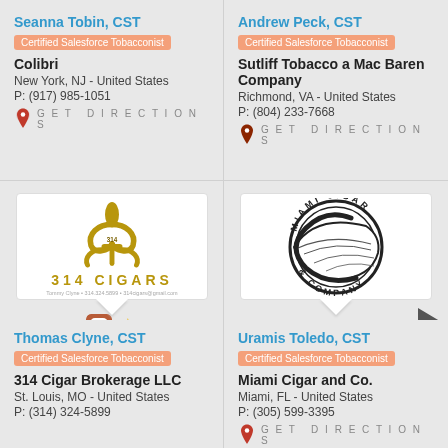Seanna Tobin, CST
Certified Salesforce Tobacconist
Colibri
New York, NJ - United States
P: (917) 985-1051
GET DIRECTIONS
Andrew Peck, CST
Certified Salesforce Tobacconist
Sutliff Tobacco a Mac Baren Company
Richmond, VA - United States
P: (804) 233-7668
GET DIRECTIONS
[Figure (logo): 314 Cigars logo with gold fleur-de-lis and text '314 CIGARS', Tommy Clyne contact info below]
[Figure (logo): Miami Cigar & Company circular black and white logo with cigar leaf design]
Thomas Clyne, CST
Certified Salesforce Tobacconist
314 Cigar Brokerage LLC
St. Louis, MO - United States
P: (314) 324-5899
Uramis Toledo, CST
Certified Salesforce Tobacconist
Miami Cigar and Co.
Miami, FL - United States
P: (305) 599-3395
GET DIRECTIONS